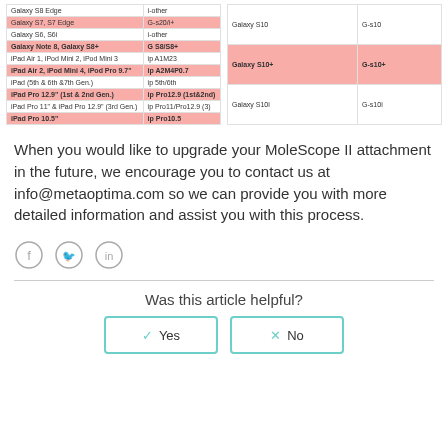| Device | Identifier |
| --- | --- |
| Galaxy S8 Edge | i-other |
| Galaxy S7, S7 Edge | G-s20/i+ |
| Galaxy S6, S6i | i-other |
| Galaxy Note 8, Galaxy S8+ | G S8/S8+ |
| iPad Air 1, iPod Mini 2, iPod Mini 3 | ip A1M23 |
| iPad Air 2, iPod Mini 4, iPod Pro 9.7" | ip A2M4P0.7 |
| iPad (5th & 6th &7th Gen.) | ip 5th/6th |
| iPad Pro 12.9" (1st & 2nd Gen.) | ip Pro12.9 (1st&2nd) |
| iPad Pro 11" & iPad Pro 12.9" (3rd Gen.) | ip Pro11/Pro12.9 (3) |
| iPad Pro 10.5" | ip Pro10.5 |
| Device | Identifier |
| --- | --- |
| Galaxy S10 | G-s10 |
| Galaxy S10+ | G-s10+ |
| Galaxy S10i | G-s10i |
When you would like to upgrade your MoleScope II attachment in the future, we encourage you to contact us at info@metaoptima.com so we can provide you with more detailed information and assist you with this process.
[Figure (other): Three social media icon circles: Facebook (f), Twitter (bird), LinkedIn (in)]
Was this article helpful?